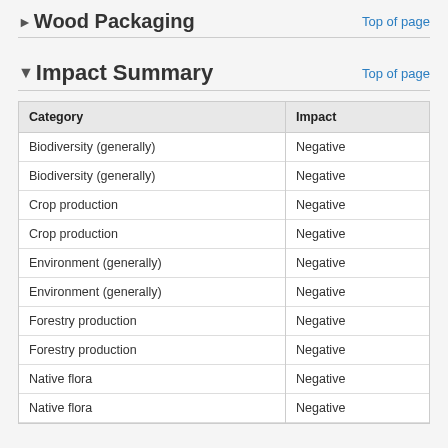►Wood Packaging
▼Impact Summary
| Category | Impact |
| --- | --- |
| Biodiversity (generally) | Negative |
| Biodiversity (generally) | Negative |
| Crop production | Negative |
| Crop production | Negative |
| Environment (generally) | Negative |
| Environment (generally) | Negative |
| Forestry production | Negative |
| Forestry production | Negative |
| Native flora | Negative |
| Native flora | Negative |